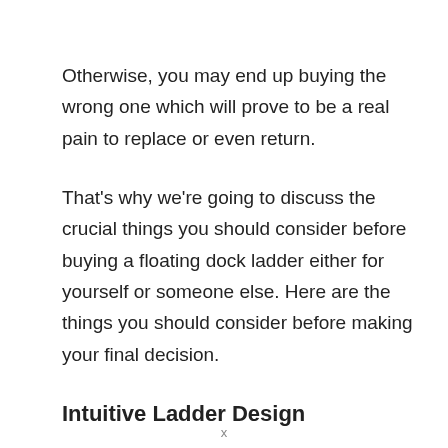Otherwise, you may end up buying the wrong one which will prove to be a real pain to replace or even return.
That's why we're going to discuss the crucial things you should consider before buying a floating dock ladder either for yourself or someone else. Here are the things you should consider before making your final decision.
Intuitive Ladder Design